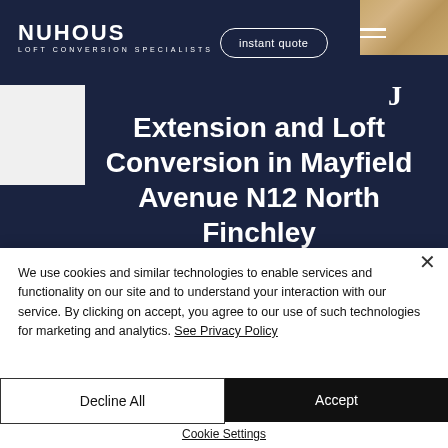NUHOUS LOFT CONVERSION SPECIALISTS
Extension and Loft Conversion in Mayfield Avenue N12 North Finchley
We use cookies and similar technologies to enable services and functionality on our site and to understand your interaction with our service. By clicking on accept, you agree to our use of such technologies for marketing and analytics. See Privacy Policy
Decline All
Accept
Cookie Settings